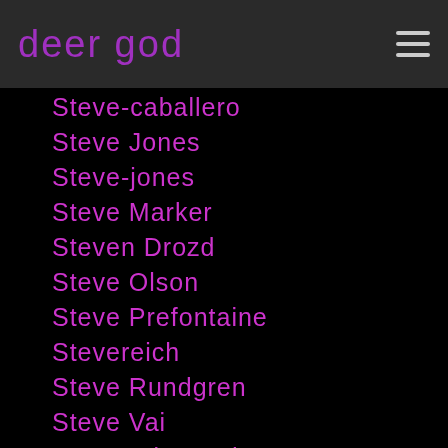deer god
Steve-caballero
Steve Jones
Steve-jones
Steve Marker
Steven Drozd
Steve Olson
Steve Prefontaine
Stevereich
Steve Rundgren
Steve Vai
Steve Winwood
Steviewonder
Stevie Wonder
Stewart Copeland
Stiff-little-fingers
Stiff Records
Stiv Bators